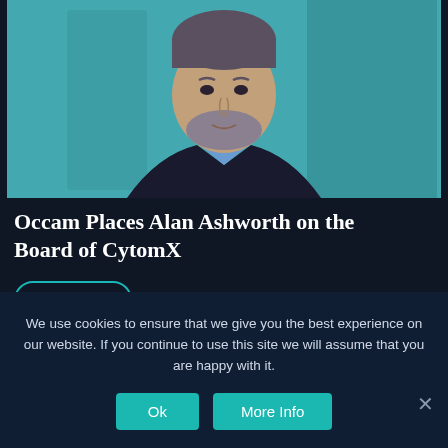[Figure (photo): Headshot of a middle-aged man with a grey beard wearing a dark suit jacket and blue shirt, photographed against a teal/blue background.]
Occam Places Alan Ashworth on the Board of CytomX
Read Story
We use cookies to ensure that we give you the best experience on our website. If you continue to use this site we will assume that you are happy with it.
Ok
More Info